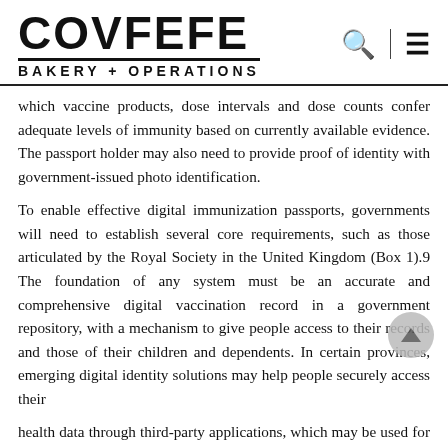COVFEFE BAKERY + OPERATIONS
which vaccine products, dose intervals and dose counts confer adequate levels of immunity based on currently available evidence. The passport holder may also need to provide proof of identity with government-issued photo identification.
To enable effective digital immunization passports, governments will need to establish several core requirements, such as those articulated by the Royal Society in the United Kingdom (Box 1).9 The foundation of any system must be an accurate and comprehensive digital vaccination record in a government repository, with a mechanism to give people access to their records and those of their children and dependents. In certain provinces, emerging digital identity solutions may help people securely access their
health data through third-party applications, which may be used for return-to-work solutions. Governments will need the capability to generate and issue cryptographically signed